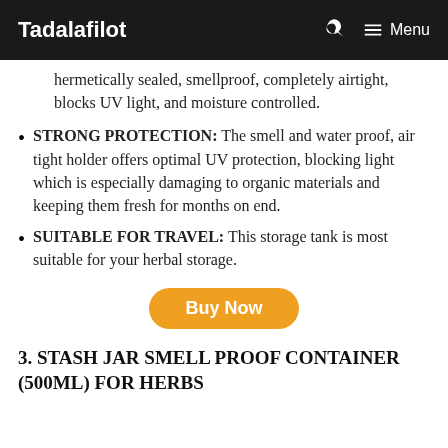Tadalafilot   🔍   ☰ Menu
hermetically sealed, smellproof, completely airtight, blocks UV light, and moisture controlled.
STRONG PROTECTION: The smell and water proof, air tight holder offers optimal UV protection, blocking light which is especially damaging to organic materials and keeping them fresh for months on end.
SUITABLE FOR TRAVEL: This storage tank is most suitable for your herbal storage.
Buy Now
3. STASH JAR SMELL PROOF CONTAINER (500ML) FOR HERBS